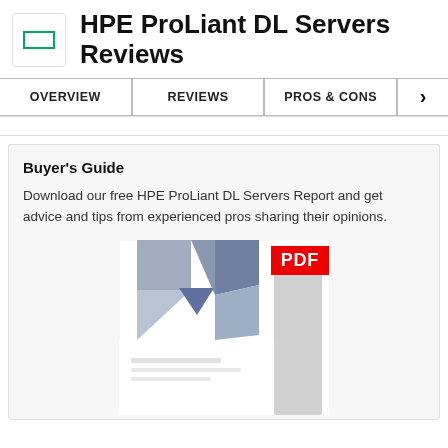HPE ProLiant DL Servers Reviews
OVERVIEW | REVIEWS | PROS & CONS
Buyer's Guide
Download our free HPE ProLiant DL Servers Report and get advice and tips from experienced pros sharing their opinions.
[Figure (illustration): PDF document cover thumbnail showing geometric hexagon/triangle shapes in blue-grey tones with a red PDF badge in the top right corner.]